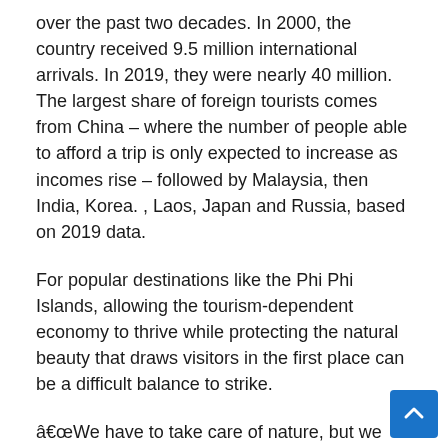over the past two decades. In 2000, the country received 9.5 million international arrivals. In 2019, they were nearly 40 million. The largest share of foreign tourists comes from China – where the number of people able to afford a trip is only expected to increase as incomes rise – followed by Malaysia, then India, Korea. , Laos, Japan and Russia, based on 2019 data.
For popular destinations like the Phi Phi Islands, allowing the tourism-dependent economy to thrive while protecting the natural beauty that draws visitors in the first place can be a difficult balance to strike.
“We have to take care of nature, but we have to work with tourists for the long term. [Fewer people] will mean less money, but we will have a future, ” said Phumipat Phutthipanjapong of the Phi Phi Island Tourist Business Association.
The stakeholder group was created several years ago in the context of growing tourism in the islands. They organize re beach cleanings to limit litter, monitor boat activity on the